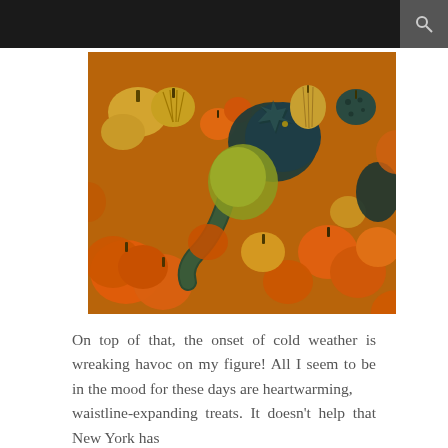[Figure (photo): A colorful collection of various gourds and miniature pumpkins in orange, yellow, green, and dark teal/navy colors, piled together.]
On top of that, the onset of cold weather is wreaking havoc on my figure! All I seem to be in the mood for these days are heartwarming, waistline-expanding treats. It doesn't help that New York has...